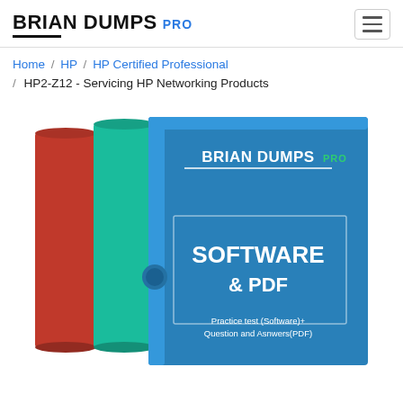BRIAN DUMPS PRO
Home / HP / HP Certified Professional / HP2-Z12 - Servicing HP Networking Products
[Figure (illustration): Product box set showing two books: a red book labeled 'Questions & Answers (PDF)', a teal book labeled 'Practice Test Software', and a large blue box labeled 'BRIAN DUMPS PRO - SOFTWARE & PDF - Practice test (Software)+ Question and Asnwers(PDF)']